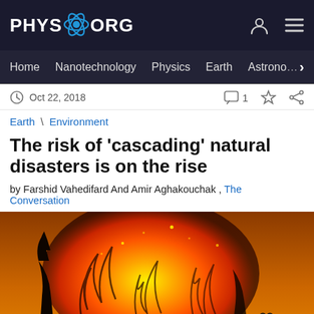PHYS.ORG
Home | Nanotechnology | Physics | Earth | Astronomy
Oct 22, 2018
Earth \ Environment
The risk of 'cascading' natural disasters is on the rise
by Farshid Vahedifard And Amir Aghakouchak , The Conversation
[Figure (photo): A large wildfire fireball engulfing trees against an orange sky background]